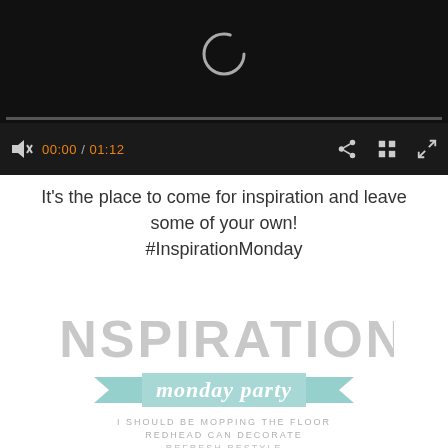[Figure (screenshot): Video player with black background, loading spinner, progress bar, controls showing 00:00 / 01:12, share icon, grid icon, and fullscreen icon]
It's the place to come for inspiration and leave some of your own!
#InspirationMonday
[Figure (logo): Inspiration Monday Party logo with large grey uppercase INSPIRATION text, teal ribbon banner with 'monday party' in cursive, and blog names below: I SHOULD BE MOPPING THE FLOOR, REDHEAD CAN DECORATE, REFRESH RESTYLE, SCATTERED THOUGHTS OF A CRAFTY MOM]